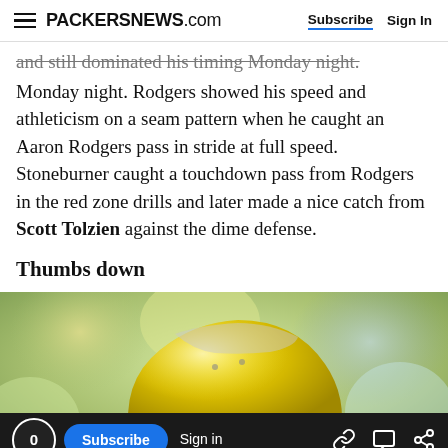PACKERSNEWS.com | Subscribe | Sign In
and still dominated his timing Monday night. Rodgers showed his speed and athleticism on a seam pattern when he caught an Aaron Rodgers pass in stride at full speed. Stoneburner caught a touchdown pass from Rodgers in the red zone drills and later made a nice catch from Scott Tolzien against the dime defense.
Thumbs down
[Figure (photo): Close-up photo of a Green Bay Packers football helmet, yellow and green, blurred bokeh background]
0 | Subscribe | Sign in | (link icon) (chat icon) (share icon)